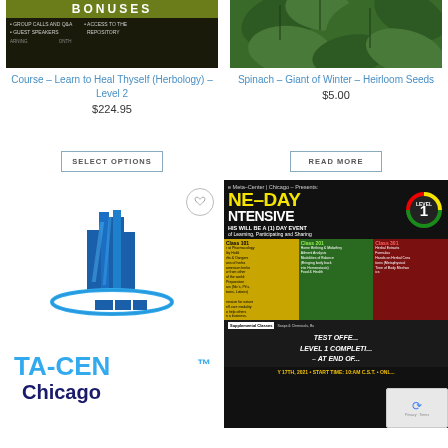[Figure (screenshot): Course product image showing BONUSES banner with group calls, Q&A, guest speakers, and access to repository text on dark background]
Course – Learn to Heal Thyself (Herbology) – Level 2
$224.95
SELECT OPTIONS
[Figure (photo): Spinach leaves close-up photo - Giant of Winter Heirloom Seeds product image]
Spinach – Giant of Winter – Heirloom Seeds
$5.00
READ MORE
[Figure (logo): Meta-Center Chicago logo with blue skyscraper buildings and circular ring graphic with TA-CENTER Chicago text]
[Figure (screenshot): One-Day Intensive Level 1 event flyer from Meta-Center Chicago showing Class 101, 201, 301 curriculum and date July 17th 2021]